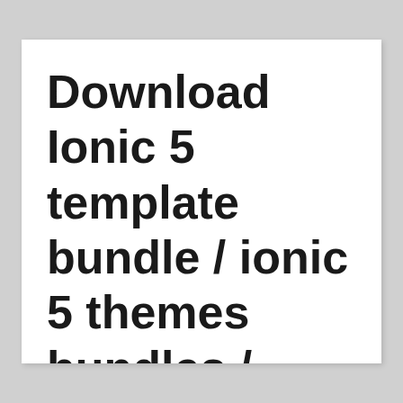Download Ionic 5 template bundle / ionic 5 themes bundles / ionic 5 templates with 10+